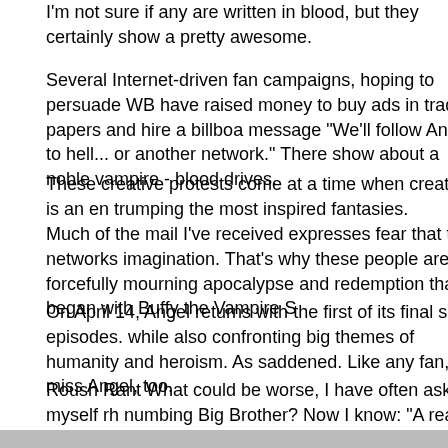I'm not sure if any are written in blood, but they certainly show a pretty awesome.
Several Internet-driven fan campaigns, hoping to persuade WB have raised money to buy ads in trade papers and hire a billboa message "We'll follow Angel to hell... or another network." There show about a noble vampire - blood drives.
These creative protests come at a time when creativity is an en trumping the most inspired fantasies.
Much of the mail I've received expresses fear that the networks imagination. That's why these people are so forcefully mourning apocalypse and redemption that began with Buffy the Vampire S
On April 14, Angel returns with the first of its final six episodes. while also confronting big themes of humanity and heroism. As saddened. Like any fan, I'll miss Angel, too.
Roush Rant What could be worse, I have often asked myself rh numbing Big Brother? Now I know: "A reality show without an en waster, Forever Eden (Thursdays, 9 pm/ET). Forever may be a this open-ended series about a bunch of shameless, foulmouth not to be banished from a tropical resort. Like anyone would no a ripple in their scummy, boring wake. Eden is the most rotten o